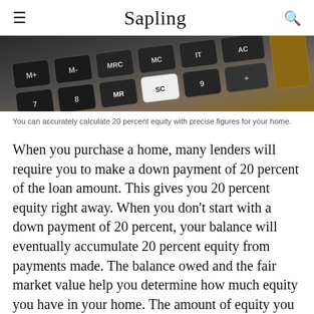Sapling
[Figure (photo): Close-up photo of calculator keys, showing keys labeled M+, M-, MRC, MC, IT, AC and others, with dark metallic buttons on a calculator.]
You can accurately calculate 20 percent equity with precise figures for your home.
When you purchase a home, many lenders will require you to make a down payment of 20 percent of the loan amount. This gives you 20 percent equity right away. When you don't start with a down payment of 20 percent, your balance will eventually accumulate 20 percent equity from payments made. The balance owed and the fair market value help you determine how much equity you have in your home. The amount of equity you have increases as the fair market value of your home increases.